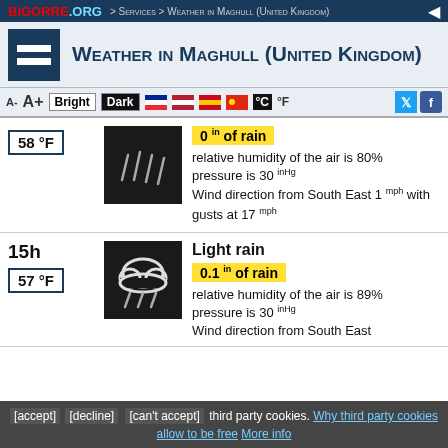BIGORRE.ORG > Services > Weather in Maghull (United Kingdom)
Weather in Maghull (United Kingdom)
A- A+ Bright Dark °C °F
58 °F
0 in of rain
relative humidity of the air is 80%
pressure is 30 inHg
Wind direction from South East 1 mph with gusts at 17 mph
15h
57 °F
Light rain
0.1 in of rain
relative humidity of the air is 89%
pressure is 30 inHg
Wind direction from South East
[accept] [decline] [can't accept] third party cookies. Why third party cookies allow to be free More info